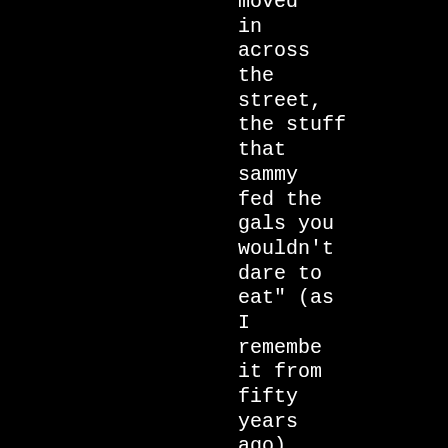moved in across the street, the stuff that sammy fed the gals you wouldn't dare to eat" (as I remember it from fifty years ago) and the other; "I took a little trip.